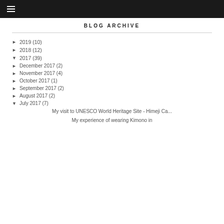≡ (hamburger menu)
BLOG ARCHIVE
► 2019 (10)
► 2018 (12)
▼ 2017 (39)
► December 2017 (2)
► November 2017 (4)
► October 2017 (1)
► September 2017 (2)
► August 2017 (2)
▼ July 2017 (7)
My visit to UNESCO World Heritage Site - Himeji Ca...
My experience of wearing Kimono in